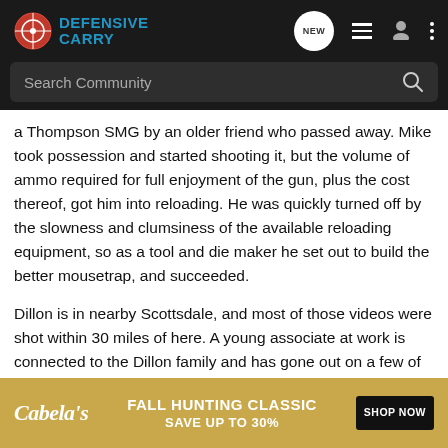Defensive Carry — Search Community header with navigation icons
a Thompson SMG by an older friend who passed away. Mike took possession and started shooting it, but the volume of ammo required for full enjoyment of the gun, plus the cost thereof, got him into reloading. He was quickly turned off by the slowness and clumsiness of the available reloading equipment, so as a tool and die maker he set out to build the better mousetrap, and succeeded.
Dillon is in nearby Scottsdale, and most of those videos were shot within 30 miles of here. A young associate at work is connected to the Dillon family and has gone out on a few of their shoots. Last year he sent around pictures from a shoot... Dillon had mounted a minigun on a British army tank and hosed a junked... was impress...
[Figure (screenshot): Cabela's Fall Hunting Classic advertisement banner — Save Up To 30% — Shop Now button]